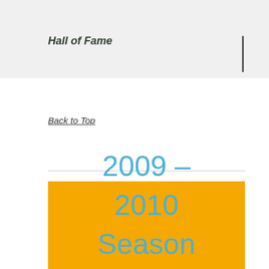Hall of Fame
Back to Top
[Figure (other): Gold banner with text '2009 – 2010 Season Awards' in blue text on gold/yellow background]